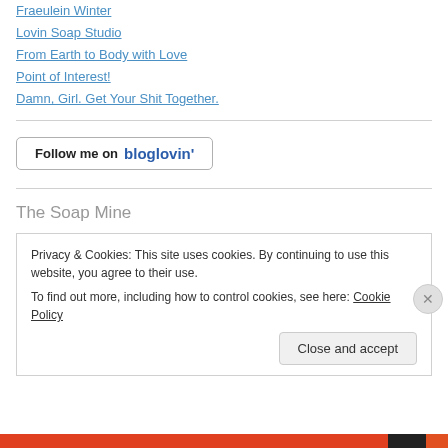Fraeulein Winter
Lovin Soap Studio
From Earth to Body with Love
Point of Interest!
Damn, Girl. Get Your Shit Together.
[Figure (other): Follow me on bloglovin' button]
The Soap Mine
Privacy & Cookies: This site uses cookies. By continuing to use this website, you agree to their use.
To find out more, including how to control cookies, see here: Cookie Policy